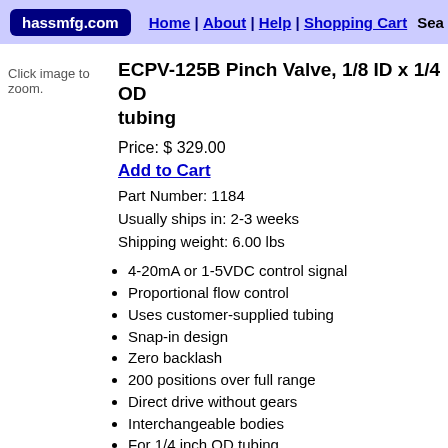hassmfg.com | Home | About | Help | Shopping Cart | Sea
Click image to zoom.
ECPV-125B Pinch Valve, 1/8 ID x 1/4 OD tubing
Price: $ 329.00
Add to Cart
Part Number: 1184
Usually ships in: 2-3 weeks
Shipping weight: 6.00 lbs
4-20mA or 1-5VDC control signal
Proportional flow control
Uses customer-supplied tubing
Snap-in design
Zero backlash
200 positions over full range
Direct drive without gears
Interchangeable bodies
For 1/4 inch OD tubing
Description